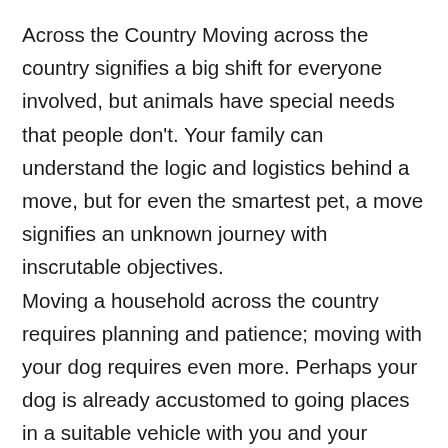Across the Country Moving across the country signifies a big shift for everyone involved, but animals have special needs that people don't. Your family can understand the logic and logistics behind a move, but for even the smartest pet, a move signifies an unknown journey with inscrutable objectives. Moving a household across the country requires planning and patience; moving with your dog requires even more. Perhaps your dog is already accustomed to going places in a suitable vehicle with you and your family, and loves riding along and seeing new places. Even with those advantages in place, your dog knows this. Moving with pets across the country will keep your hands rather full as well. Non-surprisingly, pets have their own needs, so you are advised to find time to tend to those special needs in